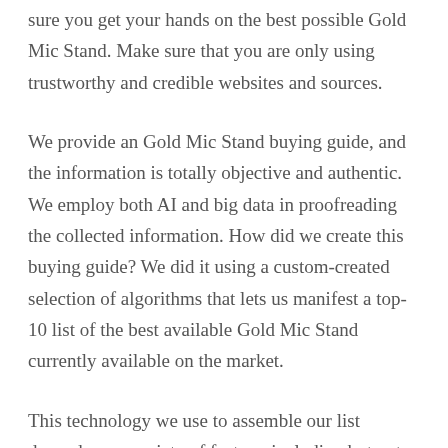sure you get your hands on the best possible Gold Mic Stand. Make sure that you are only using trustworthy and credible websites and sources.
We provide an Gold Mic Stand buying guide, and the information is totally objective and authentic. We employ both AI and big data in proofreading the collected information. How did we create this buying guide? We did it using a custom-created selection of algorithms that lets us manifest a top-10 list of the best available Gold Mic Stand currently available on the market.
This technology we use to assemble our list depends on a variety of factors, including but not limited to the following: